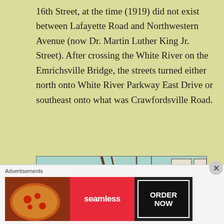16th Street, at the time (1919) did not exist between Lafayette Road and Northwestern Avenue (now Dr. Martin Luther King Jr. Street). After crossing the White River on the Emrichsville Bridge, the streets turned either north onto White River Parkway East Drive or southeast onto what was Crawfordsville Road.
[Figure (map): A vintage street map showing roads and intersections, with the number 17 prominently displayed in red in the upper right area. Shows diagonal streets, intersections, and what appears to be a river or parkway area in teal/cyan coloring.]
Advertisements
[Figure (screenshot): Advertisement banner for Seamless food delivery service featuring pizza image on the left, Seamless logo in red center, and ORDER NOW button on the right.]